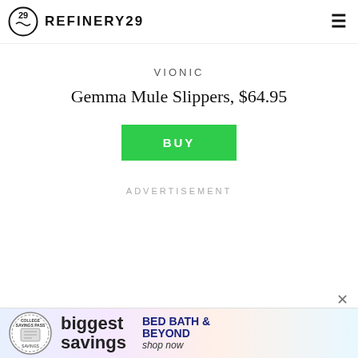REFINERY29
VIONIC
Gemma Mule Slippers, $64.95
BUY
ADVERTISEMENT
[Figure (illustration): Bed Bath & Beyond advertisement banner with College Savings Pass badge, 'biggest savings' text, and 'BED BATH & BEYOND shop now' branding]